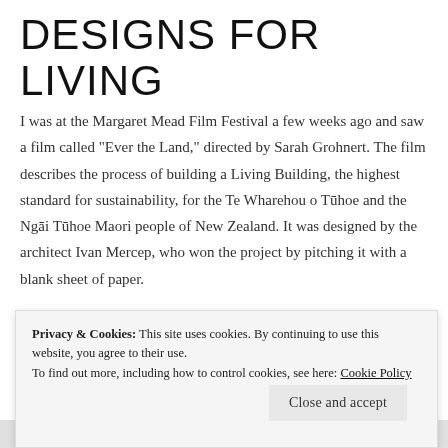DESIGNS FOR LIVING
I was at the Margaret Mead Film Festival a few weeks ago and saw a film called “Ever the Land,” directed by Sarah Grohnert. The film describes the process of building a Living Building, the highest standard for sustainability, for the Te Wharehou o Tūhoe and the Ngāi Tūhoe Maori people of New Zealand. It was designed by the architect Ivan Mercep, who won the project by pitching it with a blank sheet of paper.
[Figure (photo): Green foliage / landscape strip at the bottom of the article]
Privacy & Cookies: This site uses cookies. By continuing to use this website, you agree to their use.
To find out more, including how to control cookies, see here: Cookie Policy
Close and accept